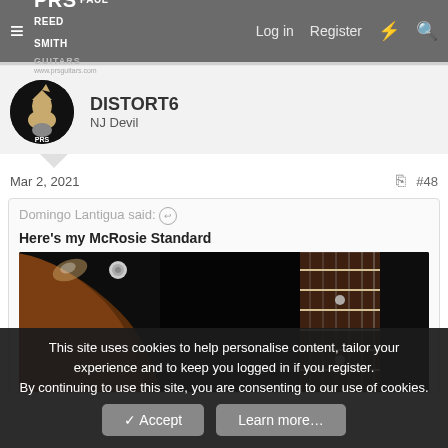PRS Paul Reed Smith Guitars www.prsguitars.com — Log in | Register
DISTORT6 — NJ Devil
Mar 2, 2021   #48
Domingo Lantigua said:
Here's my McRosie Standard
[Figure (photo): Close-up photo of a guitar neck and headstock on a dark background. Shows the brown/mahogany headstock curve on the left side and the fretboard with frets and inlays on the right.]
This site uses cookies to help personalise content, tailor your experience and to keep you logged in if you register.
By continuing to use this site, you are consenting to our use of cookies.